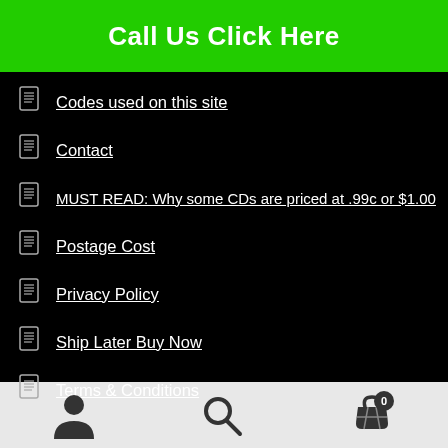Call Us Click Here
Codes used on this site
Contact
MUST READ: Why some CDs are priced at .99c or $1.00
Postage Cost
Privacy Policy
Ship Later Buy Now
Terms & Conditions